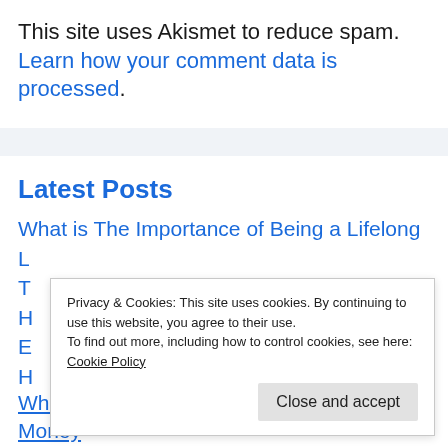This site uses Akismet to reduce spam. Learn how your comment data is processed.
Latest Posts
What is The Importance of Being a Lifelong L... T... H... E... H...
Privacy & Cookies: This site uses cookies. By continuing to use this website, you agree to their use.
To find out more, including how to control cookies, see here: Cookie Policy
Close and accept
When Does Walmart Restock and Walmart Money